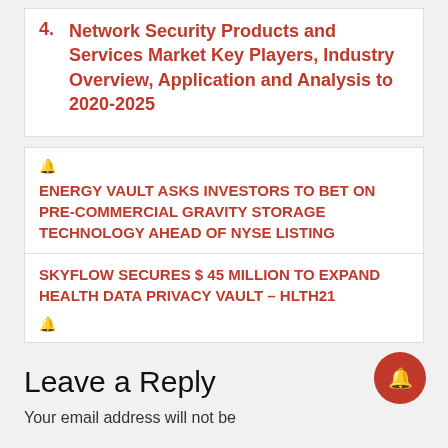4. Network Security Products and Services Market Key Players, Industry Overview, Application and Analysis to 2020-2025
🔔
ENERGY VAULT ASKS INVESTORS TO BET ON PRE-COMMERCIAL GRAVITY STORAGE TECHNOLOGY AHEAD OF NYSE LISTING
SKYFLOW SECURES $ 45 MILLION TO EXPAND HEALTH DATA PRIVACY VAULT – HLTH21
🔔
Leave a Reply
Your email address will not be